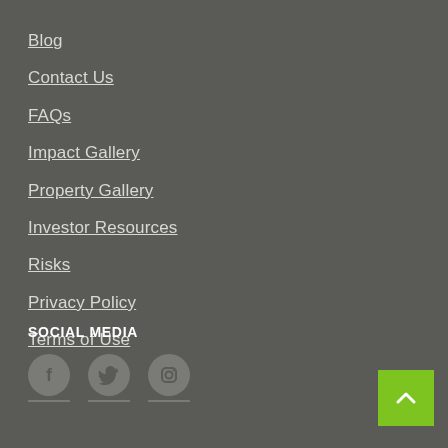Blog
Contact Us
FAQs
Impact Gallery
Property Gallery
Investor Resources
Risks
Privacy Policy
Terms of Use
SOCIAL MEDIA
[Figure (other): Social media icons: Facebook, Twitter, Instagram circles with underlines, and a green back-to-top arrow button]